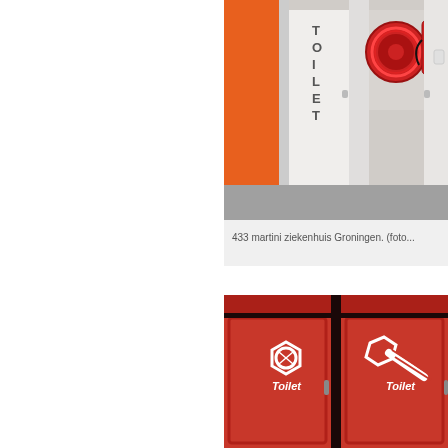[Figure (photo): Interior corridor photo showing toilet door signs with orange wall, fire hose reel and fire extinguisher mounted on wall. Martini ziekenhuis Groningen hospital.]
433 martini ziekenhuis Groningen. (foto...
[Figure (photo): Red painted toilet doors with white nut and bolt icons and the word 'Toilet' written on each door.]